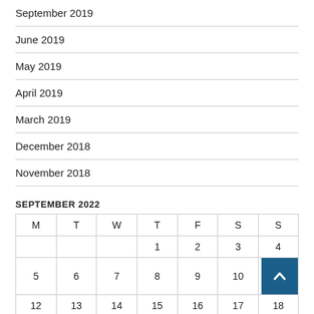September 2019
June 2019
May 2019
April 2019
March 2019
December 2018
November 2018
SEPTEMBER 2022
| M | T | W | T | F | S | S |
| --- | --- | --- | --- | --- | --- | --- |
|  |  |  | 1 | 2 | 3 | 4 |
| 5 | 6 | 7 | 8 | 9 | 10 | 11 |
| 12 | 13 | 14 | 15 | 16 | 17 | 18 |